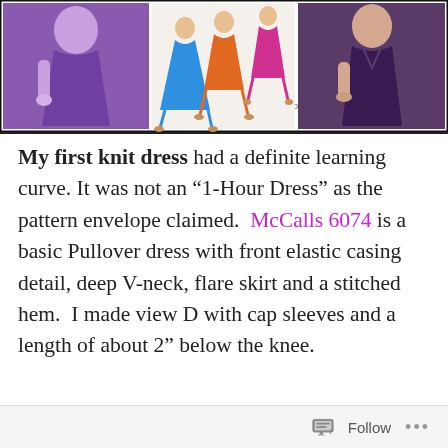[Figure (photo): Collage of three panels: left shows a woman in a long purple knit dress, middle shows a sewing pattern illustration with three dress styles in blue, orange and pink/magenta, right shows a woman in a dark purple/eggplant knit dress. A watermark reading 'DenierSews.com' is visible on the left panel.]
My first knit dress had a definite learning curve. It was not an "1-Hour Dress" as the pattern envelope claimed. McCalls 6074 is a basic Pullover dress with front elastic casing detail, deep V-neck, flare skirt and a stitched hem. I made view D with cap sleeves and a length of about 2" below the knee.
Follow ...